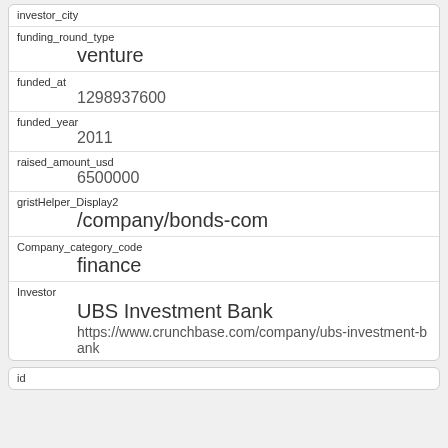| investor_city |  |
| funding_round_type | venture |
| funded_at | 1298937600 |
| funded_year | 2011 |
| raised_amount_usd | 6500000 |
| gristHelper_Display2 | /company/bonds-com |
| Company_category_code | finance |
| Investor | UBS Investment Bank
https://www.crunchbase.com/company/ubs-investment-bank |
| id |  |